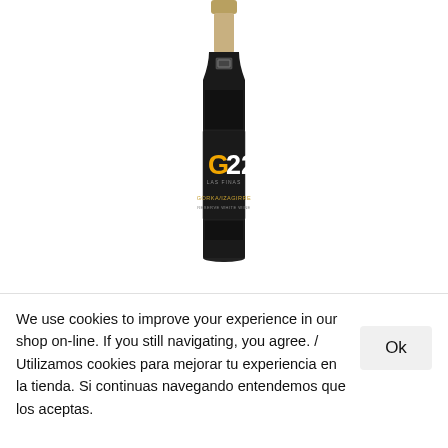[Figure (photo): Wine bottle with dark label showing 'G22' in gold and white text, 'GORKA/IZAGIRRE' branding, Reserve White Wine. Bottle has foil top and black label.]
Txakoli GORKA IZAGIRRE G22
18.00€ (IVA/VAT incl.)
We use cookies to improve your experience in our shop on-line. If you still navigating, you agree. / Utilizamos cookies para mejorar tu experiencia en la tienda. Si continuas navegando entendemos que los aceptas.